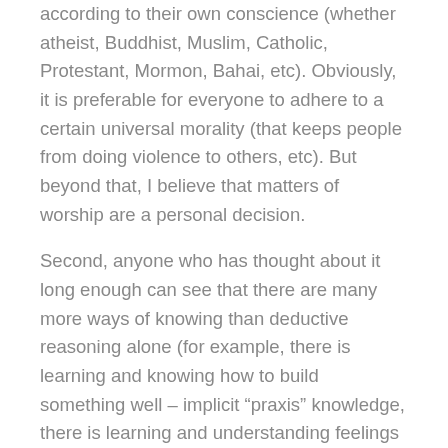according to their own conscience (whether atheist, Buddhist, Muslim, Catholic, Protestant, Mormon, Bahai, etc). Obviously, it is preferable for everyone to adhere to a certain universal morality (that keeps people from doing violence to others, etc). But beyond that, I believe that matters of worship are a personal decision.
Second, anyone who has thought about it long enough can see that there are many more ways of knowing than deductive reasoning alone (for example, there is learning and knowing how to build something well – implicit “praxis” knowledge, there is learning and understanding feelings and relationships – intrapersonal and interpersonal knowledge, there is learning and understanding how to design or create something beautiful – aesthetic knowledge,